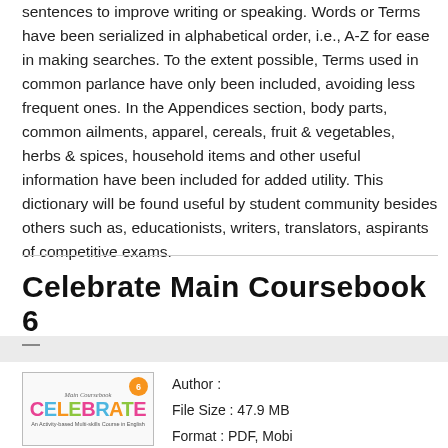sentences to improve writing or speaking. Words or Terms have been serialized in alphabetical order, i.e., A-Z for ease in making searches. To the extent possible, Terms used in common parlance have only been included, avoiding less frequent ones. In the Appendices section, body parts, common ailments, apparel, cereals, fruit & vegetables, herbs & spices, household items and other useful information have been included for added utility. This dictionary will be found useful by student community besides others such as, educationists, writers, translators, aspirants of competitive exams.
Celebrate Main Coursebook 6
[Figure (illustration): Book cover of 'Celebrate Main Coursebook 6' showing colorful letter-styled title 'CELEBRATE' with a number 6 badge, subtitle 'An Activity-based Multi-skills Course in English']
Author :
File Size : 47.9 MB
Format : PDF, Mobi